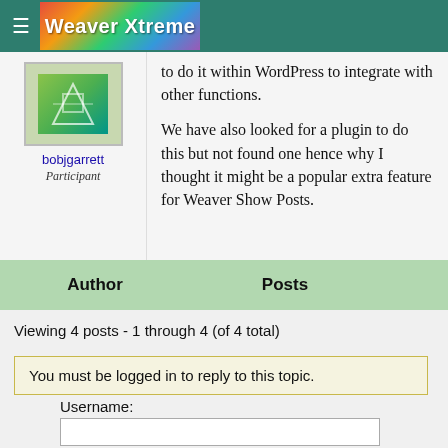Weaver Xtreme
to do it within WordPress to integrate with other functions.
We have also looked for a plugin to do this but not found one hence why I thought it might be a popular extra feature for Weaver Show Posts.
| Author | Posts |
| --- | --- |
Viewing 4 posts - 1 through 4 (of 4 total)
You must be logged in to reply to this topic.
Username: